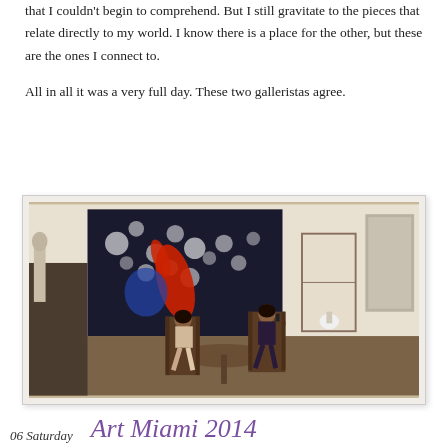that I couldn't begin to comprehend.  But I still gravitate to the pieces that relate directly to my world.  I know there is a place for the other, but these are the ones I connect to.

All in all it was a very full day. These two galleristas agree.
[Figure (photo): Two women sitting in chairs at a table inside a contemporary art gallery. Behind them is a large colorful painting featuring bright red and blue shapes. To the right is a display cabinet and an abstract artwork. The floor is dark polished wood and the walls are white.]
06 Saturday   Art Miami 2014